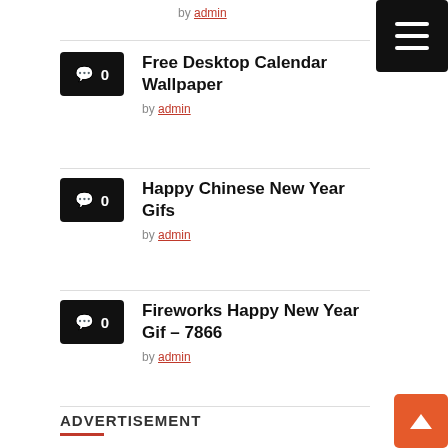by admin
Free Desktop Calendar Wallpaper
by admin
Happy Chinese New Year Gifs
by admin
Fireworks Happy New Year Gif – 7866
by admin
ADVERTISEMENT
[Figure (other): Hamburger menu button (black rectangle with three white lines)]
[Figure (other): Scroll-to-top button (orange square with white upward arrow)]